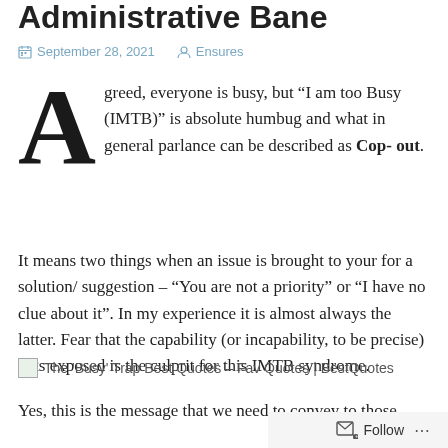Administrative Bane
September 28, 2021   Ensures
Agreed, everyone is busy, but “I am too Busy (IMTB)” is absolute humbug and what in general parlance can be described as Cop-out. It means two things when an issue is brought to your for a solution/ suggestion – “You are not a priority” or “I have no clue about it”. In my experience it is almost always the latter. Fear that the capability (or incapability, to be precise) gets exposed is the culprit for this IMTB syndrome.
The 'Busy' Trap Best Quotes – Fav Quotes | BestQuotes
Yes, this is the message that we need to convey to those